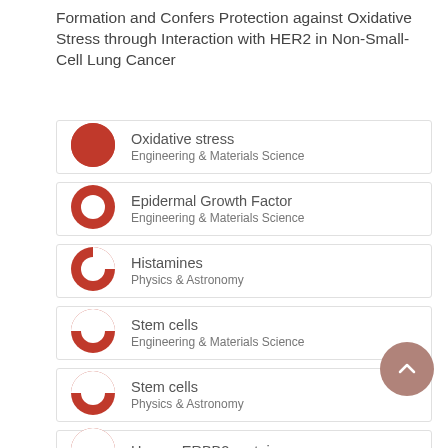Formation and Confers Protection against Oxidative Stress through Interaction with HER2 in Non-Small-Cell Lung Cancer
Oxidative stress — Engineering & Materials Science
Epidermal Growth Factor — Engineering & Materials Science
Histamines — Physics & Astronomy
Stem cells — Engineering & Materials Science
Stem cells — Physics & Astronomy
Human ERBB2 protein